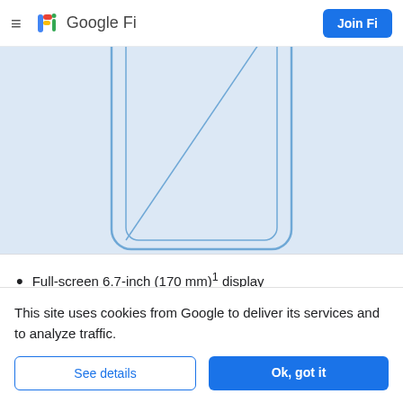Google Fi — Join Fi
[Figure (illustration): Partial phone outline illustration on light blue background, showing rounded rectangle device frame with diagonal line inside]
Full-screen 6.7-inch (170 mm)¹ display 19.5:9 aspect ratio
This site uses cookies from Google to deliver its services and to analyze traffic.
See details
Ok, got it